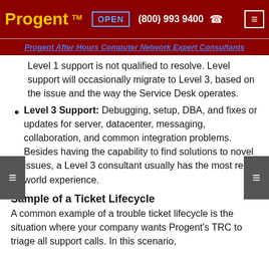Progent™  OPEN  (800) 993 9400
Progent After Hours Computer Network Expert Consultants
Level 1 support is not qualified to resolve. Level support will occasionally migrate to Level 3, based on the issue and the way the Service Desk operates.
Level 3 Support: Debugging, setup, DBA, and fixes or updates for server, datacenter, messaging, collaboration, and common integration problems. Besides having the capability to find solutions to novel issues, a Level 3 consultant usually has the most real-world experience.
Sample of a Ticket Lifecycle
A common example of a trouble ticket lifecycle is the situation where your company wants Progent's TRC to triage all support calls. In this scenario,